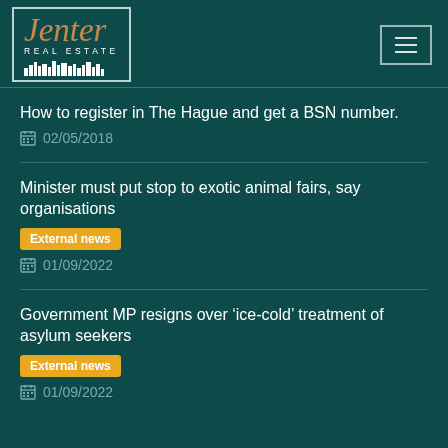[Figure (logo): Jenter Real Estate logo with gold italic text and white skyline silhouette inside a white border box]
How to register in The Hague and get a BSN number.
02/05/2018
Minister must put stop to exotic animal fairs, say organisations
External news
01/09/2022
Government MP resigns over 'ice-cold' treatment of asylum seekers
External news
01/09/2022